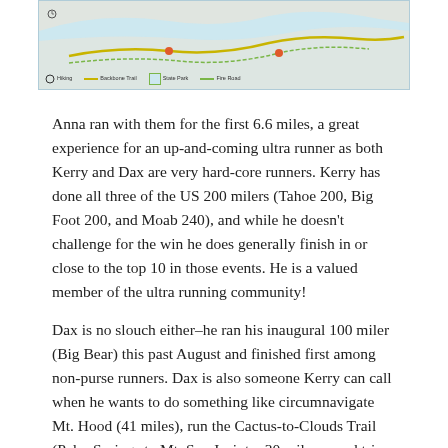[Figure (map): A partial map image showing a trail route with a legend indicating trail types and markers. Light blue background with yellow and green trail lines and icons.]
Anna ran with them for the first 6.6 miles, a great experience for an up-and-coming ultra runner as both Kerry and Dax are very hard-core runners. Kerry has done all three of the US 200 milers (Tahoe 200, Big Foot 200, and Moab 240), and while he doesn't challenge for the win he does generally finish in or close to the top 10 in those events. He is a valued member of the ultra running community!
Dax is no slouch either–he ran his inaugural 100 miler (Big Bear) this past August and finished first among non-purse runners. Dax is also someone Kerry can call when he wants to do something like circumnavigate Mt. Hood (41 miles), run the Cactus-to-Clouds Trail (Palm Springs to Mt. San Jacinto, 30 miles round trip, 12,000 feet of ascent), or the entire Backbone Trail. Dax also has a very understanding